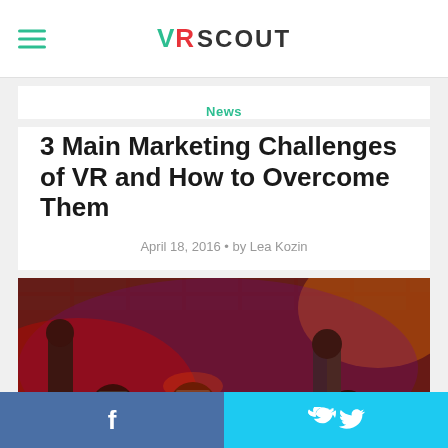VR SCOUT
News
3 Main Marketing Challenges of VR and How to Overcome Them
April 18, 2016 • by Lea Kozin
[Figure (photo): Group of people wearing VR headsets in a dimly lit room with brick walls and red/purple lighting]
Facebook share button | Twitter share button